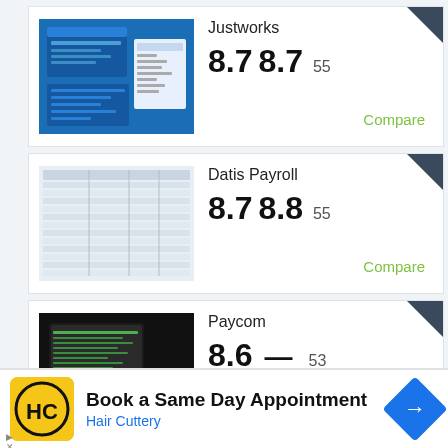[Figure (screenshot): Justworks software screenshot on blue background]
Justworks
8.7  8.7  55
Compare
[Figure (screenshot): Datis Payroll spreadsheet screenshot]
Datis Payroll
8.7  8.8  55
Compare
[Figure (screenshot): Paycom software on dark background]
Paycom
8.6  —  53
Compare
[Figure (logo): Hair Cuttery logo - HC in yellow circle]
Book a Same Day Appointment
Hair Cuttery